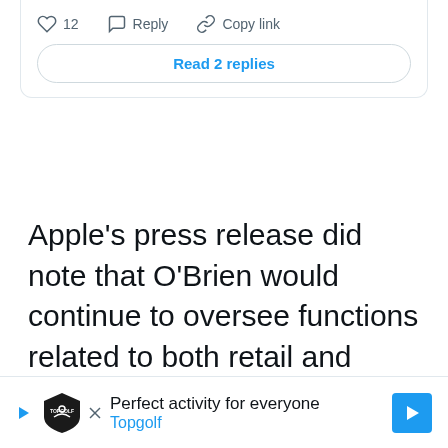[Figure (screenshot): Tweet interaction bar with heart icon showing 12 likes, reply icon, and copy link icon]
Read 2 replies
Apple's press release did note that O’Brien would continue to oversee functions related to both retail and people, including talent development and employee relations, so there’s that.
[Figure (screenshot): Topgolf advertisement banner: Perfect activity for everyone, Topgolf]